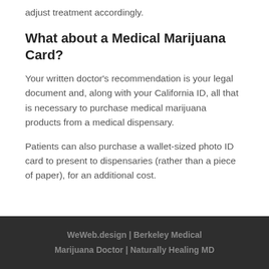adjust treatment accordingly.
What about a Medical Marijuana Card?
Your written doctor's recommendation is your legal document and, along with your California ID, all that is necessary to purchase medical marijuana products from a medical dispensary.
Patients can also purchase a wallet-sized photo ID card to present to dispensaries (rather than a piece of paper), for an additional cost.
WeWeb.design | Berkeley Medical Marijuana Doctor | Naturally Healing MD